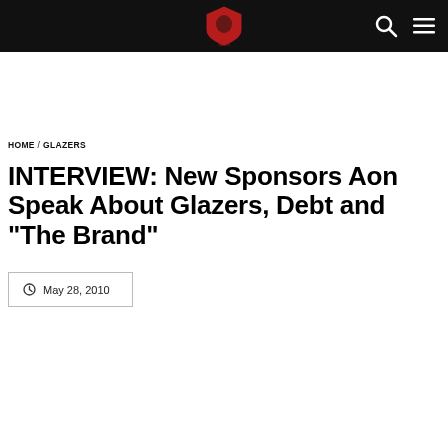BWFC Nation logo, search icon, menu icon
HOME / GLAZERS
INTERVIEW: New Sponsors Aon Speak About Glazers, Debt and "The Brand"
May 28, 2010